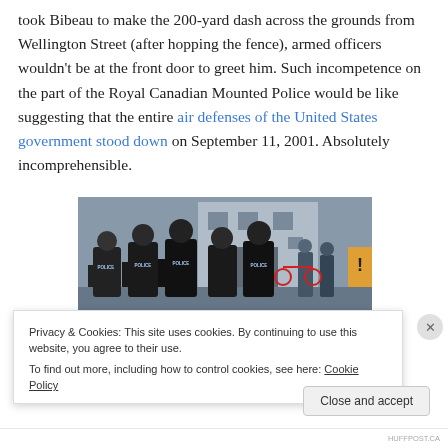took Bibeau to make the 200-yard dash across the grounds from Wellington Street (after hopping the fence), armed officers wouldn't be at the front door to greet him. Such incompetence on the part of the Royal Canadian Mounted Police would be like suggesting that the entire air defenses of the United States government stood down on September 11, 2001. Absolutely incomprehensible.
[Figure (photo): Photo of armed police officers in black tactical gear and masks standing in front of a building marked '99 Metcalfe' with a hazard sign visible on the right side.]
Privacy & Cookies: This site uses cookies. By continuing to use this website, you agree to their use.
To find out more, including how to control cookies, see here: Cookie Policy
HUFFPOST.CA